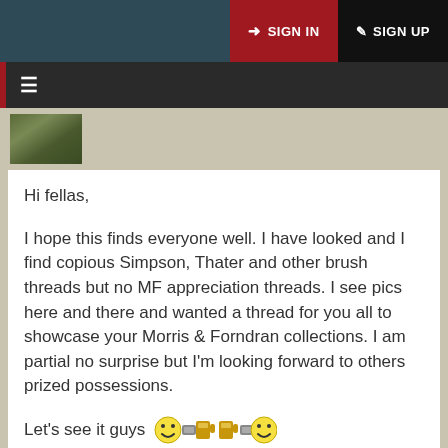SIGN IN  SIGN UP
Hi fellas,

I hope this finds everyone well. I have looked and I find copious Simpson, Thater and other brush threads but no MF appreciation threads. I see pics here and there and wanted a thread for you all to showcase your Morris & Forndran collections. I am partial no surprise but I'm looking forward to others prized possessions.

Let's see it guys
[Figure (screenshot): Pixel-art emoji sequence: smiley face, beer mugs, smiley face]